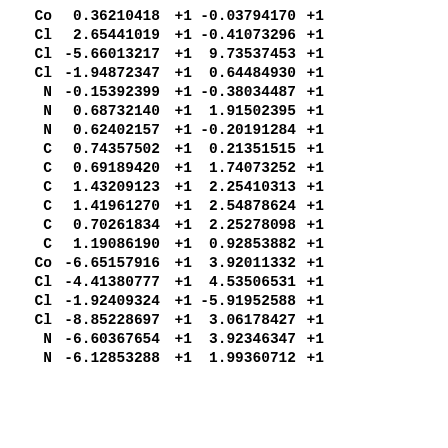| Co | 0.36210418 | +1 | -0.03794170 | +1 |
| Cl | 2.65441019 | +1 | -0.41073296 | +1 |
| Cl | -5.66013217 | +1 | 9.73537453 | +1 |
| Cl | -1.94872347 | +1 | 0.64484930 | +1 |
| N | -0.15392399 | +1 | -0.38034487 | +1 |
| N | 0.68732140 | +1 | 1.91502395 | +1 |
| N | 0.62402157 | +1 | -0.20191284 | +1 |
| C | 0.74357502 | +1 | 0.21351515 | +1 |
| C | 0.69189420 | +1 | 1.74073252 | +1 |
| C | 1.43209123 | +1 | 2.25410313 | +1 |
| C | 1.41961270 | +1 | 2.54878624 | +1 |
| C | 0.70261834 | +1 | 2.25278098 | +1 |
| C | 1.19086190 | +1 | 0.92853882 | +1 |
| Co | -6.65157916 | +1 | 3.92011332 | +1 |
| Cl | -4.41380777 | +1 | 4.53506531 | +1 |
| Cl | -1.92409324 | +1 | -5.91952588 | +1 |
| Cl | -8.85228697 | +1 | 3.06178427 | +1 |
| N | -6.60367654 | +1 | 3.92346347 | +1 |
| N | -6.12853288 | +1 | 1.99360712 | +1 |